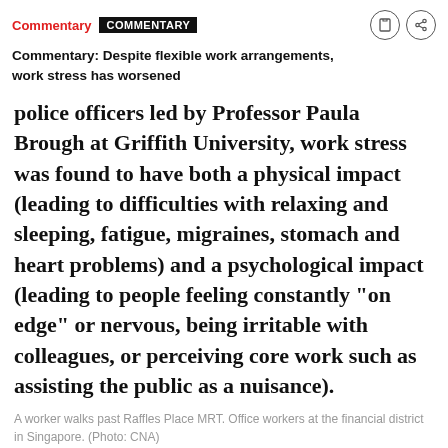Commentary  COMMENTARY
Commentary: Despite flexible work arrangements, work stress has worsened
police officers led by Professor Paula Brough at Griffith University, work stress was found to have both a physical impact (leading to difficulties with relaxing and sleeping, fatigue, migraines, stomach and heart problems) and a psychological impact (leading to people feeling constantly “on edge” or nervous, being irritable with colleagues, or perceiving core work such as assisting the public as a nuisance).
A worker walks past Raffles Place MRT. Office workers at the financial district in Singapore. (Photo: CNA)
Although the stigma associated with stress is declining, many employees prefer to seek professional assistance for work stress through their